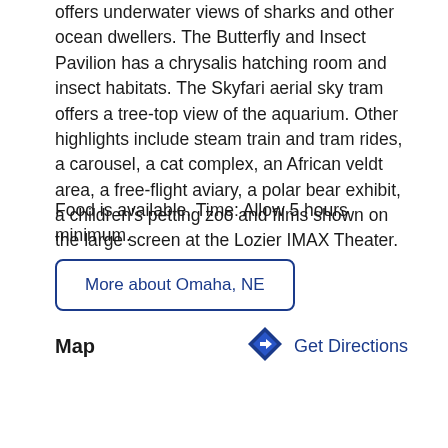offers underwater views of sharks and other ocean dwellers. The Butterfly and Insect Pavilion has a chrysalis hatching room and insect habitats. The Skyfari aerial sky tram offers a tree-top view of the aquarium. Other highlights include steam train and tram rides, a carousel, a cat complex, an African veldt area, a free-flight aviary, a polar bear exhibit, a children's petting zoo and films shown on the large screen at the Lozier IMAX Theater.
Food is available. Time: Allow 5 hours minimum.
More about Omaha, NE
Map
Get Directions